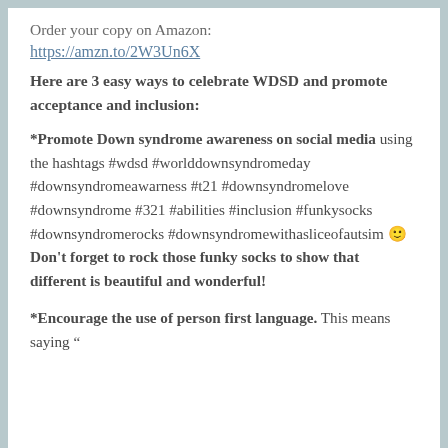Order your copy on Amazon:
https://amzn.to/2W3Un6X
Here are 3 easy ways to celebrate WDSD and promote acceptance and inclusion:
*Promote Down syndrome awareness on social media using the hashtags #wdsd #worlddownsyndromeday #downsyndromeawarness #t21 #downsyndromelove #downsyndrome #321 #abilities #inclusion #funkysocks #downsyndromerocks #downsyndromewithasliceofautsim 🙂 Don't forget to rock those funky socks to show that different is beautiful and wonderful!
*Encourage the use of person first language. This means saying "